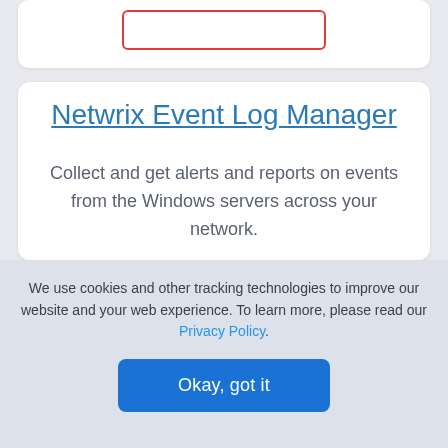Netwrix Event Log Manager
Collect and get alerts and reports on events from the Windows servers across your network.
We use cookies and other tracking technologies to improve our website and your web experience. To learn more, please read our Privacy Policy.